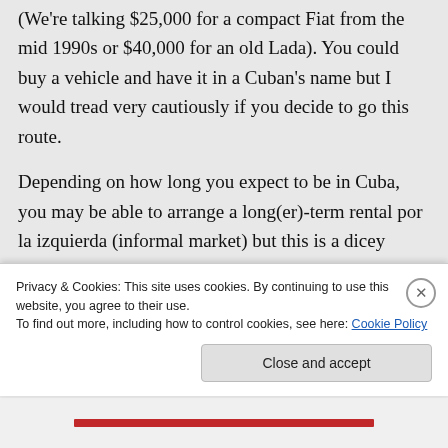(We're talking $25,000 for a compact Fiat from the mid 1990s or $40,000 for an old Lada). You could buy a vehicle and have it in a Cuban's name but I would tread very cautiously if you decide to go this route.
Depending on how long you expect to be in Cuba, you may be able to arrange a long(er)-term rental por la izquierda (informal market) but this is a dicey affair, full of potential risks and pitfalls. An electric bicycle would probably be more realistic
Privacy & Cookies: This site uses cookies. By continuing to use this website, you agree to their use.
To find out more, including how to control cookies, see here: Cookie Policy